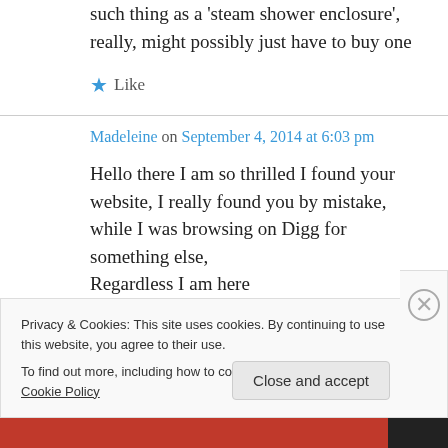such thing as a 'steam shower enclosure', really, might possibly just have to buy one
★ Like
Madeleine on September 4, 2014 at 6:03 pm
Hello there I am so thrilled I found your website, I really found you by mistake, while I was browsing on Digg for something else, Regardless I am here
Privacy & Cookies: This site uses cookies. By continuing to use this website, you agree to their use.
To find out more, including how to control cookies, see here: Cookie Policy
Close and accept